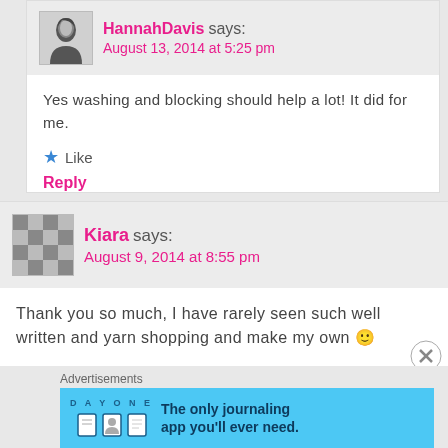HannahDavis says: August 13, 2014 at 5:25 pm
Yes washing and blocking should help a lot! It did for me.
Like
Reply
Kiara says: August 9, 2014 at 8:55 pm
Thank you so much, I have rarely seen such well written and yarn shopping and make my own 🙂
Like
Reply
Advertisements
[Figure (screenshot): Day One journaling app advertisement banner with light blue background, showing app icons and text 'The only journaling app you'll ever need.']